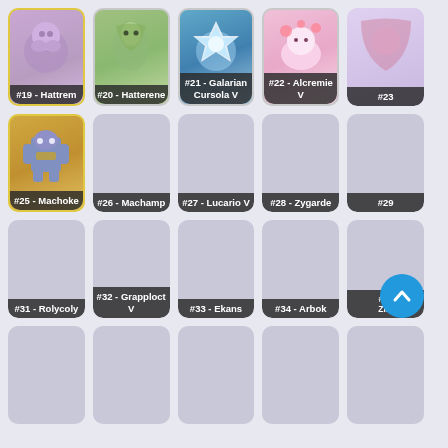[Figure (other): Grid of Pokemon trading cards, some revealed with artwork and some as blank placeholders. Cards shown: #19 Hattrem (purple, gold border), #20 Hatterene (green background), #21 Galarian Cursola V (blue, ice), #22 Alcremie V (pink), #23 (partially visible), #25 Machoke (yellow/gold border, fighting), #26 Machamp (blank), #27 Lucario V (blank), #28 Zygarde (blank), #29 (partially visible, blank), #31 Rolycoly (blank), #32 Grapploct V (blank), #33 Ekans (blank), #34 Arbok (blank), #35 Zigzagoon (partially visible, blank), and bottom row of blanks. A blue scroll-to-top button visible at bottom right.]